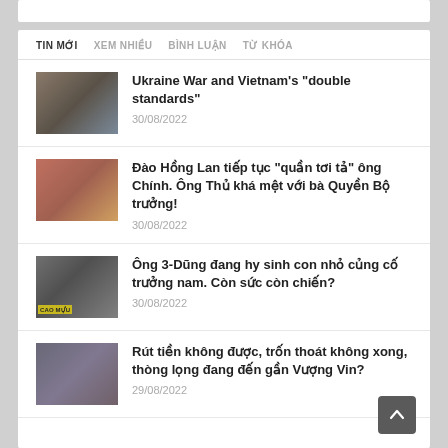TIN MỚI  XEM NHIỀU  BÌNH LUẬN  TỪ KHÓA
Ukraine War and Vietnam's "double standards"
30/08/2022
Đào Hồng Lan tiếp tục "quần tơi tả" ông Chính. Ông Thủ khá mệt với bà Quyền Bộ trưởng!
30/08/2022
Ông 3-Dũng đang hy sinh con nhỏ củng cố trưởng nam. Còn sức còn chiến?
30/08/2022
Rút tiền không được, trốn thoát không xong, thòng lọng đang đến gần Vượng Vin?
29/08/2022